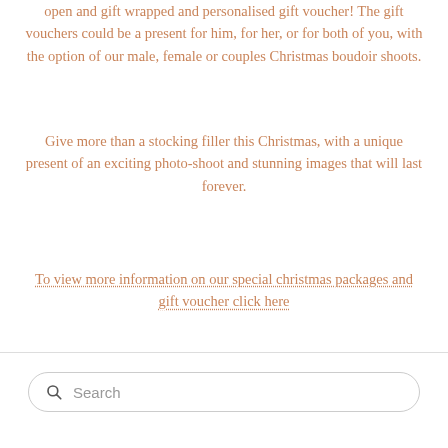open and gift wrapped and personalised gift voucher! The gift vouchers could be a present for him, for her, or for both of you, with the option of our male, female or couples Christmas boudoir shoots.
Give more than a stocking filler this Christmas, with a unique present of an exciting photo-shoot and stunning images that will last forever.
To view more information on our special christmas packages and gift voucher click here